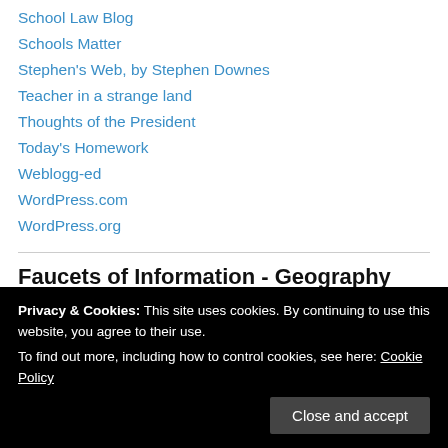School Law Blog
Schools Matter
Stephen's Web, by Stephen Downes
Teacher in a strange land
Thoughts of the President
Today's Homework
Weblogg-ed
WordPress.com
WordPress.org
Faucets of Information - Geography
Curious Expeditions
Privacy & Cookies: This site uses cookies. By continuing to use this website, you agree to their use. To find out more, including how to control cookies, see here: Cookie Policy
Route 66 News